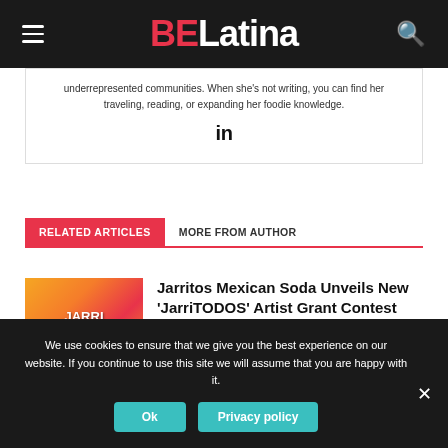BE Latina
underrepresented communities. When she's not writing, you can find her traveling, reading, or expanding her foodie knowledge.
[Figure (logo): LinkedIn logo icon (in)]
RELATED ARTICLES   MORE FROM AUTHOR
[Figure (illustration): JarriTodos colorful illustrated poster with orange and red colors, featuring cartoon characters and the text JarriTodos]
Jarritos Mexican Soda Unveils New 'JarriTODOS' Artist Grant Contest
We use cookies to ensure that we give you the best experience on our website. If you continue to use this site we will assume that you are happy with it.
Ok   Privacy policy